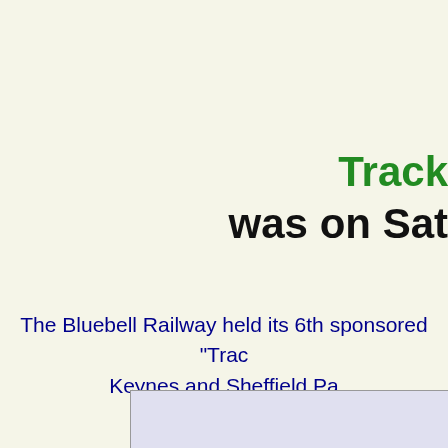Track
was on Sat
The Bluebell Railway held its 6th sponsored "Trac Keynes and Sheffield Pa
[Figure (photo): Photograph with light blue/lavender background, partial view of image]